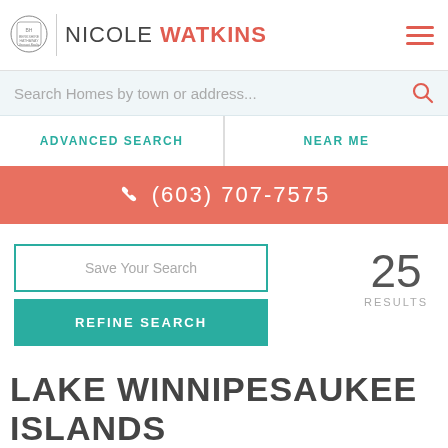NICOLE WATKINS — Berkshire Hathaway
Search Homes by town or address...
ADVANCED SEARCH
NEAR ME
(603) 707-7575
Save Your Search
REFINE SEARCH
25 RESULTS
LAKE WINNIPESAUKEE ISLANDS